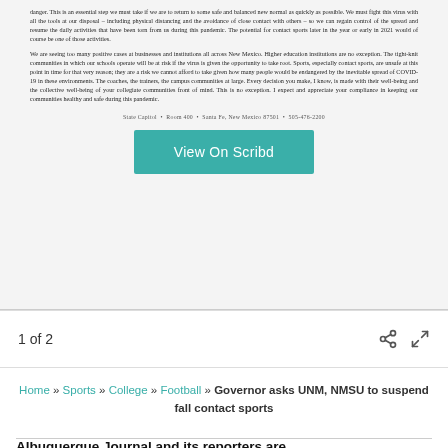danger. This is an essential step we must take if we are to return to some safe and balanced new normal as quickly as possible. We must fight this virus with all the tools at our disposal – including physical distancing and the avoidance of close contact with others – so we can regain control of the spread and resume the daily activities that have been torn from us during this pandemic. The potential for contact sports later in the year or early in 2021 would of course be one of those activities.
We are seeing too many positive cases at businesses and institutions all across New Mexico. Higher education institutions are no exception. The tight-knit communities in which our schools operate will be at risk if the virus is given the opportunity to take root. Sports, especially contact sports, are unsafe at this point in time for that very reason; they are a risk we cannot afford to take given how many people would be endangered by the inevitable spread of COVID-19 in these environments. The coaches, the trainers, the campus communities at large. Every decision you make, I know, is made with their well-being and the collective well-being of your collegiate communities front of mind. This is no exception. I expect and appreciate your compliance in keeping our communities healthy and safe during this pandemic.
State Capitol  •  Room 400  •  Santa Fe, New Mexico 87501  •  505-476-2200
[Figure (screenshot): Teal/green 'View On Scribd' button]
1 of 2
Home » Sports » College » Football » Governor asks UNM, NMSU to suspend fall contact sports
Albuquerque Journal and its reporters are committed to telling the stories of our community.